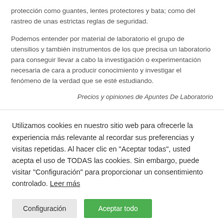protección como guantes, lentes protectores y bata; como del rastreo de unas estrictas reglas de seguridad.
Podemos entender por material de laboratorio el grupo de utensilios y también instrumentos de los que precisa un laboratorio para conseguir llevar a cabo la investigación o experimentación necesaria de cara a producir conocimiento y investigar el fenómeno de la verdad que se esté estudiando.
Precios y opiniones de Apuntes De Laboratorio
Utilizamos cookies en nuestro sitio web para ofrecerle la experiencia más relevante al recordar sus preferencias y visitas repetidas. Al hacer clic en "Aceptar todas", usted acepta el uso de TODAS las cookies. Sin embargo, puede visitar "Configuración" para proporcionar un consentimiento controlado. Leer más